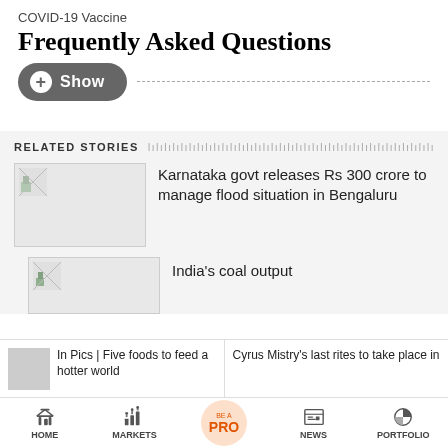COVID-19 Vaccine
Frequently Asked Questions
+ Show
RELATED STORIES
[Figure (photo): Thumbnail image placeholder for Karnataka flood story]
Karnataka govt releases Rs 300 crore to manage flood situation in Bengaluru
[Figure (photo): Thumbnail image placeholder for India coal output story]
India's coal output
In Pics | Five foods to feed a hotter world
Cyrus Mistry's last rites to take place in
HOME  MARKETS  BE A PRO  NEWS  PORTFOLIO